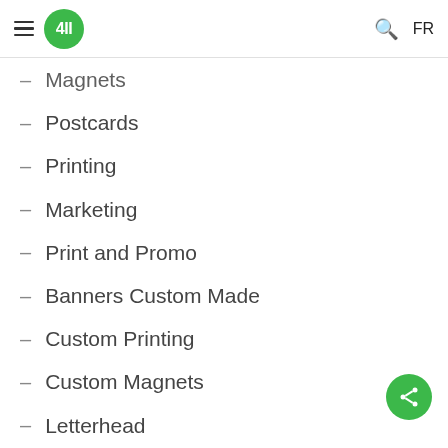4II | FR
- Magnets
- Postcards
- Printing
- Marketing
- Print and Promo
- Banners Custom Made
- Custom Printing
- Custom Magnets
- Letterhead
Language options
English